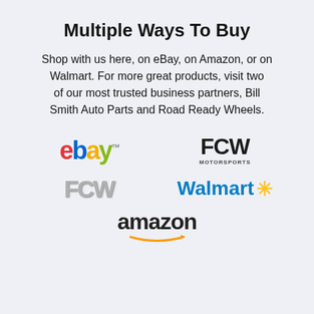Multiple Ways To Buy
Shop with us here, on eBay, on Amazon, or on Walmart. For more great products, visit two of our most trusted business partners, Bill Smith Auto Parts and Road Ready Wheels.
[Figure (logo): eBay logo in red, blue, yellow, green lettering]
[Figure (logo): FCW logo in dark/black bold lettering with small subtitle]
[Figure (logo): FCW logo in silver/chrome metallic lettering]
[Figure (logo): Walmart logo in blue text with yellow spark/asterisk]
[Figure (logo): Amazon logo in dark text with orange smile arrow]